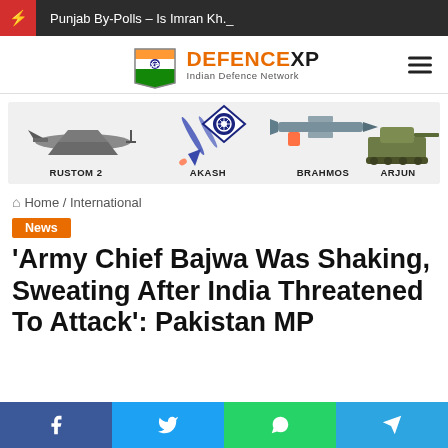Punjab By-Polls – Is Imran Kh._
[Figure (logo): DefenceXP - Indian Defence Network logo with shield emblem and text]
[Figure (infographic): Defence weapons banner showing Rustom 2, Akash, Indian Army emblem, BrahMos, and Arjun with labels]
Home / International
News
'Army Chief Bajwa Was Shaking, Sweating After India Threatened To Attack': Pakistan MP